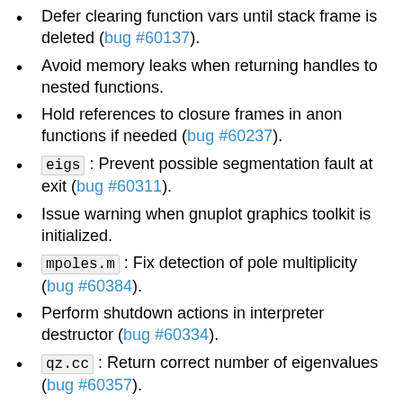Defer clearing function vars until stack frame is deleted (bug #60137).
Avoid memory leaks when returning handles to nested functions.
Hold references to closure frames in anon functions if needed (bug #60237).
eigs: Prevent possible segmentation fault at exit (bug #60311).
Issue warning when gnuplot graphics toolkit is initialized.
mpoles.m: Fix detection of pole multiplicity (bug #60384).
Perform shutdown actions in interpreter destructor (bug #60334).
qz.cc: Return correct number of eigenvalues (bug #60357).
qz.cc: Let test pass with LAPACK 3.9.1 and earlier versions (bug #60357).